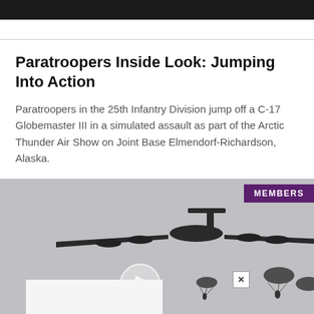Paratroopers Inside Look: Jumping Into Action
Paratroopers in the 25th Infantry Division jump off a C-17 Globemaster III in a simulated assault as part of the Arctic Thunder Air Show on Joint Base Elmendorf-Richardson, Alaska.
[Figure (photo): A C-17 Globemaster III military transport aircraft photographed from below against a grey overcast sky, with paratroopers visible descending on parachutes. A MEMBERS badge appears in the upper right. A close button and advertisement overlay appear at the bottom.]